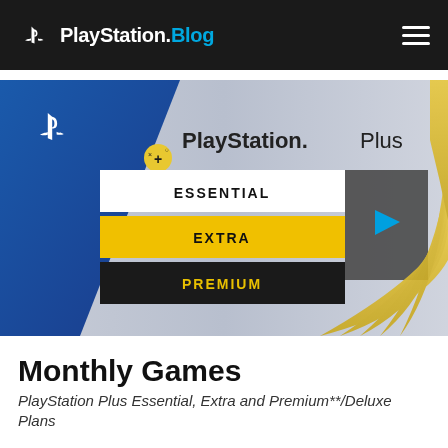PlayStation.Blog
[Figure (screenshot): PlayStation Plus promotional banner showing three subscription tiers: Essential (white background), Extra (yellow background), Premium (dark background with yellow text), with a blue PlayStation logo in the top-left corner and decorative gold curved lines on the right side. A video play overlay is visible.]
Monthly Games
PlayStation Plus Essential, Extra and Premium**/Deluxe Plans